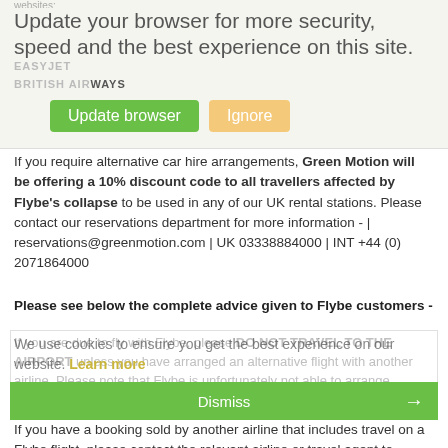websites:
Update your browser for more security, speed and the best experience on this site.
EASYJET
BRITISH AIRWAYS
Update browser   Ignore
If you require alternative car hire arrangements, Green Motion will be offering a 10% discount code to all travellers affected by Flybe's collapse to be used in any of our UK rental stations. Please contact our reservations department for more information - | reservations@greenmotion.com | UK 03338884000 | INT +44 (0) 2071864000
Please see below the complete advice given to Flybe customers -
If you are due to fly with Flybe, please DO NOT TRAVEL TO THE AIRPORT unless you have arranged an alternative flight with another airline. Please note that Flybe is unfortunately not able to arrange alternative flights for passengers.
We use cookies to ensure you get the best experience on our website. Learn more
Dismiss →
If you have a booking sold by another airline that includes travel on a Flybe flight, please contact the relevant airline or travel agent to confirm if there is any impact to your